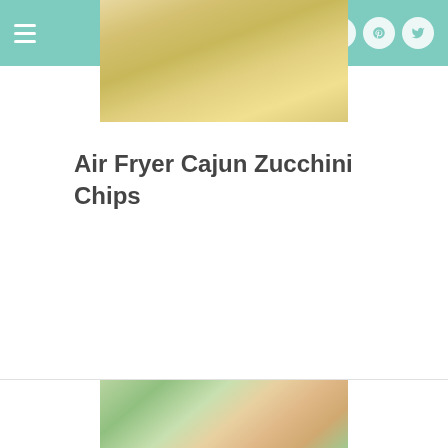Navigation bar with hamburger menu and social icons (Facebook, Instagram, Pinterest, Twitter)
[Figure (photo): Partial top photo showing golden/straw-colored food or background, cropped at top of content area]
Air Fryer Cajun Zucchini Chips
[Figure (photo): Partial bottom photo showing colorful food items including green and pink/red colors, partially visible at bottom of page]